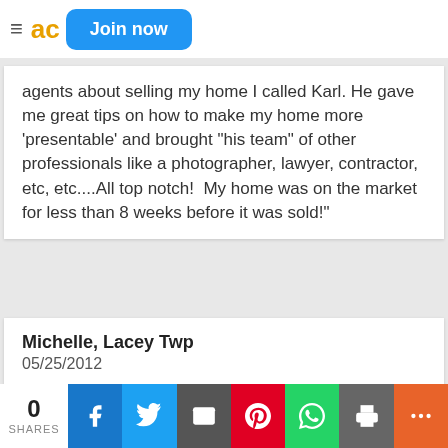Join now
agents about selling my home I called Karl. He gave me great tips on how to make my home more 'presentable' and brought "his team" of other professionals like a photographer, lawyer, contractor, etc, etc....All top notch!  My home was on the market for less than 8 weeks before it was sold!"
Michelle, Lacey Twp
05/25/2012
"I first listed my home with a personal friend. She was not a full
0
SHARES